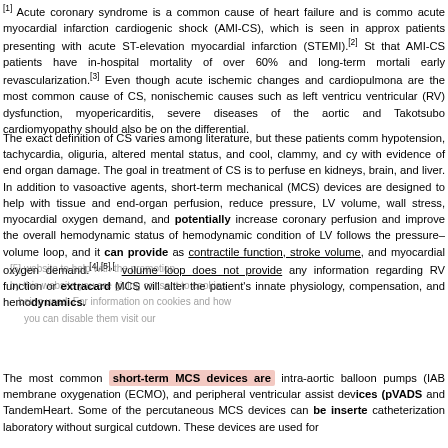[1] Acute coronary syndrome is a common cause of heart failure and is common acute myocardial infarction cardiogenic shock (AMI-CS), which is seen in approx patients presenting with acute ST-elevation myocardial infarction (STEMI).[2] St that AMI-CS patients have in-hospital mortality of over 60% and long-term mortali early revascularization.[3] Even though acute ischemic changes and cardiopulmona are the most common cause of CS, nonischemic causes such as left ventricu ventricular (RV) dysfunction, myopericarditis, severe diseases of the aortic and Takotsubo cardiomyopathy should also be on the differential.
The exact definition of CS varies among literature, but these patients comm hypotension, tachycardia, oliguria, altered mental status, and cool, clammy, and cy with evidence of end organ damage. The goal in treatment of CS is to perfuse en kidneys, brain, and liver. In addition to vasoactive agents, short-term mechanical (MCS) devices are designed to help with tissue and end-organ perfusion, reduce pressure, LV volume, wall stress, myocardial oxygen demand, and potentially increase coronary perfusion and improve the overall hemodynamic status of hemodynamic condition of LV follows the pressure–volume loop, and it can provide as contractile function, stroke volume, and myocardial oxygen demand.[4],[5],[ volume loop does not provide any information regarding RV function or extracard MCS will alter the patient's innate physiology, compensation, and hemodynamics.
The most common short-term MCS devices are intra-aortic balloon pumps (IAB membrane oxygenation (ECMO), and peripheral ventricular assist devices (pVADs and TandemHeart. Some of the percutaneous MCS devices can be inserte catheterization laboratory without surgical cutdown. These devices are used for